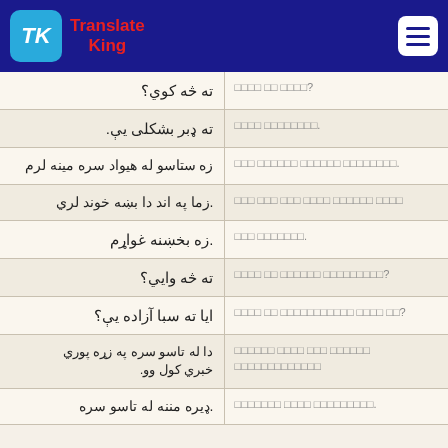Translate King
| Pashto | Transliteration |
| --- | --- |
| ته څه کوي؟ | □□□□ □□ □□□□? |
| ته ډبر بشکلی یې. | □□□□ □□□□□□□□. |
| زه ستاسو له هیواد سره مینه لرم | □□□ □□□□□□ □□□□□□ □□□□□□□□. |
| .زما په اند دا بښه خوند لري | □□□ □□□ □□□ □□□□ □□□□□□ □□□□ |
| .زه بخښنه غواړم | □□□ □□□□□□□. |
| ته څه وایي؟ | □□□□ □□ □□□□□□ □□□□□□□□□? |
| ایا ته سبا آزاده یې؟ | □□□□ □□ □□□□□□□□□□□ □□□□ □□? |
| دا له تاسو سره په زړه پوري خبري کول وو. | □□□□□□ □□□□ □□□ □□□□□□ □□□□□□□□□□□□□ |
| .ډیره مننه له تاسو سره | □□□□□□□ □□□□ □□□□□□□□□. |